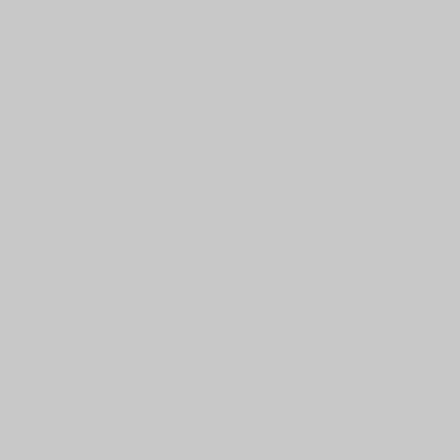Bethpage, Rock Hill, Eisenhower form "B...
Bethpage retains title, edges Rock Hill ano...
Newsday: Eisenhower Red still one of Lon...
Golf On Long Island's "Nassau 18" -- Eise...
Observations: The Forgotten Greens of Ei...
2009 Long Island Dream Club: Eisenhowe...
Eisenhower Red joins list of 4-star courses...
Have thoughts and opinions on Eisenhower R... Island readers by posting in the comments se...
Posted in Nassau Courses, Nassau Courses: 18-... Permalink
Comments
You can follow this conversation by subsc...
[Figure (illustration): Teal/green abstract tree or plant illustration, square avatar image]
What is the earliest time to call to book a tee time for next saturday at Eis... simple question answered even a...

Please unlock the secret.